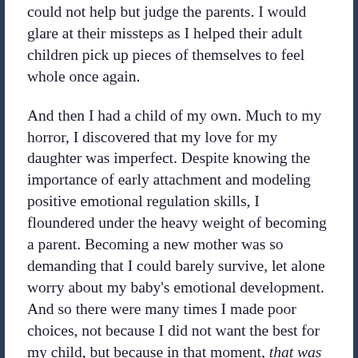could not help but judge the parents. I would glare at their missteps as I helped their adult children pick up pieces of themselves to feel whole once again.
And then I had a child of my own. Much to my horror, I discovered that my love for my daughter was imperfect. Despite knowing the importance of early attachment and modeling positive emotional regulation skills, I floundered under the heavy weight of becoming a parent. Becoming a new mother was so demanding that I could barely survive, let alone worry about my baby's emotional development. And so there were many times I made poor choices, not because I did not want the best for my child, but because in that moment, that was the best I could do. This experience fundamentally shifted how I now see many of my clients' parents. I